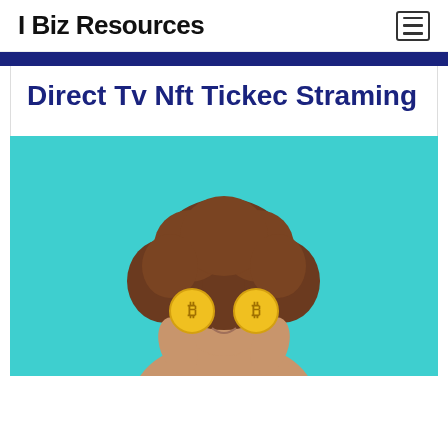I Biz Resources
Direct Tv Nft Tickec Straming
[Figure (photo): Woman with curly hair holding two gold Bitcoin coins over her eyes, against a teal/cyan background]